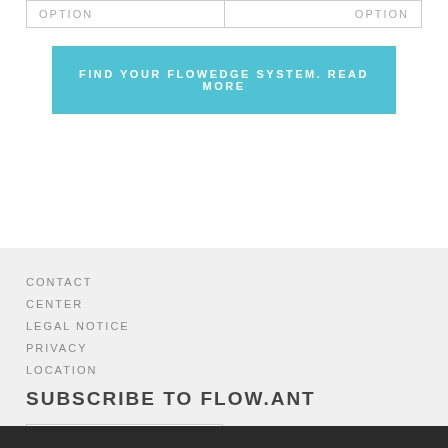| OPTION | OPTION |
| --- | --- |
FIND YOUR FLOWEDGE SYSTEM. READ MORE
CONTACT
CENTER
LEGAL NOTICE
PRIVACY
LOCATION
SUBSCRIBE TO FLOW.ANT